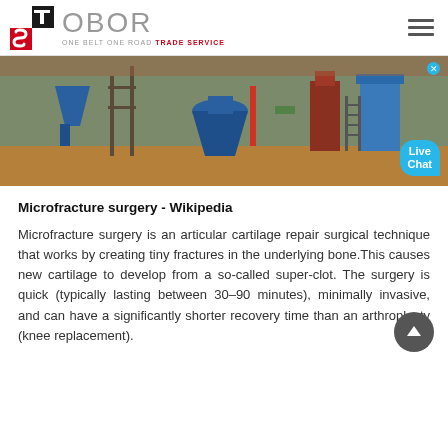[Figure (logo): OBOR One Belt One Road Trade Service logo with TS graphic mark in black and red]
[Figure (photo): Industrial machinery site with blue cone crusher and other equipment outdoors]
Microfracture surgery - Wikipedia
Microfracture surgery is an articular cartilage repair surgical technique that works by creating tiny fractures in the underlying bone.This causes new cartilage to develop from a so-called super-clot. The surgery is quick (typically lasting between 30–90 minutes), minimally invasive, and can have a significantly shorter recovery time than an arthroplasty (knee replacement).